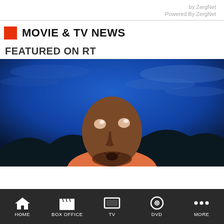by ZergNet
Powered By ZergNet
MOVIE & TV NEWS
FEATURED ON RT
[Figure (photo): A man looking upward against a dramatic blue sky with clouds, wearing an orange shirt]
HOME | BOX OFFICE | TV | DVD | MORE